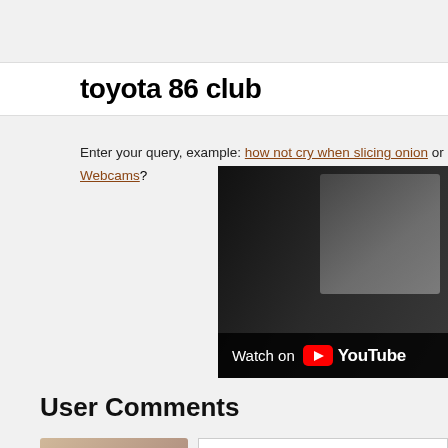toyota 86 club
Enter your query, example: how not cry when slicing onion or how to enter Webcams?
[Figure (screenshot): YouTube video thumbnail showing car interior dashboard, with 'Watch on YouTube' overlay bar at the bottom]
User Comments
Rupert Huang commented on 05 Jan 2016
What tyres/mods? :)
Rupert Huang commented on 05 Jan 201...